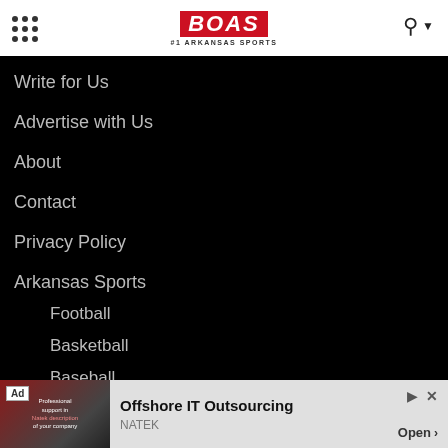BOAS #1 ARKANSAS SPORTS
Write for Us
Advertise with Us
About
Contact
Privacy Policy
Arkansas Sports
Football
Basketball
Baseball
Stay in touch
Stay up to...
[Figure (other): Advertisement banner: Offshore IT Outsourcing by NATEK with Open button]